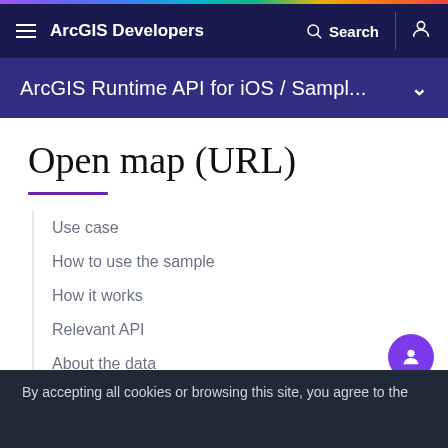ArcGIS Developers
ArcGIS Runtime API for iOS / Sampl...
Open map (URL)
Use case
How to use the sample
How it works
Relevant API
About the data
Tags
By accepting all cookies or browsing this site, you agree to the